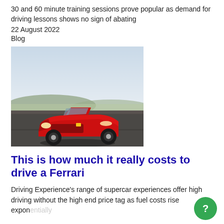30 and 60 minute training sessions prove popular as demand for driving lessons shows no sign of abating
22 August 2022
Blog
[Figure (photo): A red Ferrari sports car driving on a track with countryside and hills in the background]
This is how much it really costs to drive a Ferrari
Driving Experience's range of supercar experiences offer high driving without the high end price tag as fuel costs rise exponentially